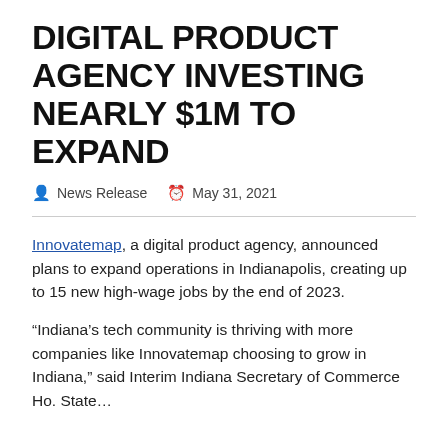DIGITAL PRODUCT AGENCY INVESTING NEARLY $1M TO EXPAND
News Release   May 31, 2021
Innovatemap, a digital product agency, announced plans to expand operations in Indianapolis, creating up to 15 new high-wage jobs by the end of 2023.
“Indiana’s tech community is thriving with more companies like Innovatemap choosing to grow in Indiana,” said Interim Indiana Secretary of Commerce Ho. State…